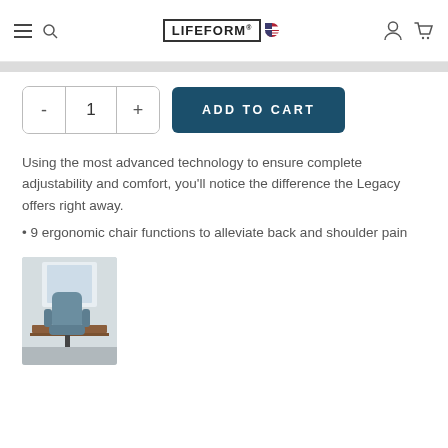LIFEFORM [navigation header with hamburger, search, logo, user, cart icons]
- 1 + ADD TO CART
Using the most advanced technology to ensure complete adjustability and comfort, you’ll notice the difference the Legacy offers right away.
9 ergonomic chair functions to alleviate back and shoulder pain
[Figure (photo): Thumbnail photo of a blue ergonomic office chair at a desk near a window]